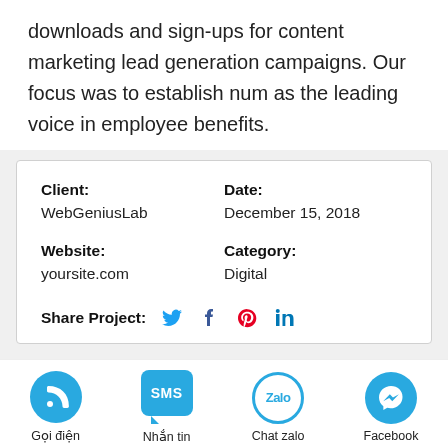downloads and sign-ups for content marketing lead generation campaigns. Our focus was to establish num as the leading voice in employee benefits.
| Client: | Date: |
| WebGeniusLab | December 15, 2018 |
| Website: | Category: |
| yoursite.com | Digital |
| Share Project: | Twitter, Facebook, Pinterest, LinkedIn |
Gọi điện | Nhắn tin | Chat zalo | Facebook